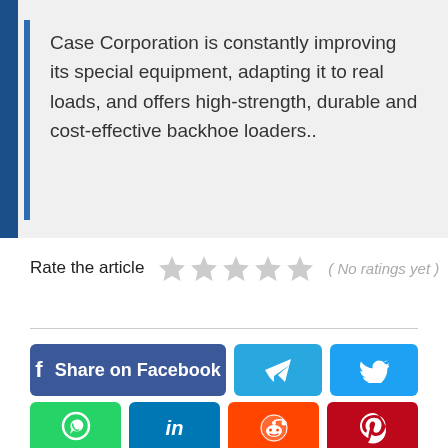Case Corporation is constantly improving its special equipment, adapting it to real loads, and offers high-strength, durable and cost-effective backhoe loaders..
Rate the article ( No ratings yet )
[Figure (infographic): Social share buttons: Share on Facebook, Telegram, Twitter, WhatsApp, LinkedIn, Reddit, Pinterest]